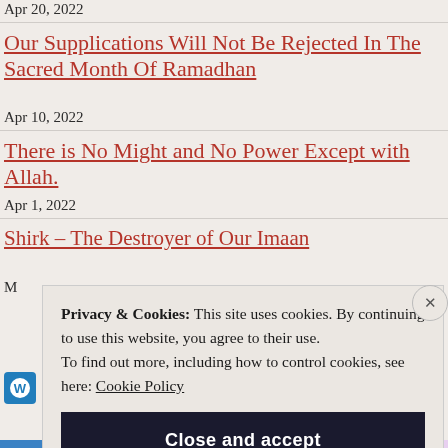Apr 20, 2022
Our Supplications Will Not Be Rejected In The Sacred Month Of Ramadhan
Apr 10, 2022
There is No Might and No Power Except with Allah.
Apr 1, 2022
Shirk – The Destroyer of Our Imaan
M
Privacy & Cookies: This site uses cookies. By continuing to use this website, you agree to their use. To find out more, including how to control cookies, see here: Cookie Policy
Close and accept